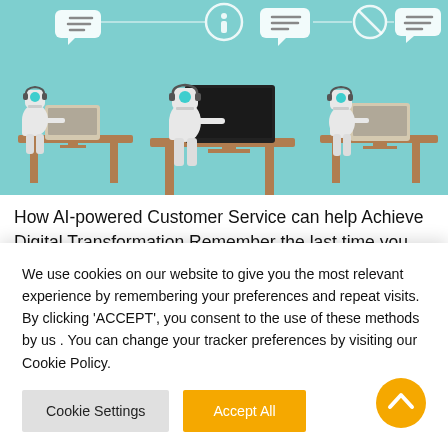[Figure (illustration): Illustration of three AI/robot figures sitting at desks with computers, on a teal background, with chat/info icons above them representing AI-powered customer service.]
How AI-powered Customer Service can help Achieve Digital Transformation Remember the last time you had to call a call center to seek some assistance? Were you 100% satisfied? Have you felt frustrated getting directed through
We use cookies on our website to give you the most relevant experience by remembering your preferences and repeat visits. By clicking 'ACCEPT', you consent to the use of these methods by us . You can change your tracker preferences by visiting our Cookie Policy.